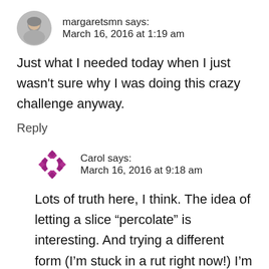margaretsmn says:
March 16, 2016 at 1:19 am
Just what I needed today when I just wasn't sure why I was doing this crazy challenge anyway.
Reply
Carol says:
March 16, 2016 at 9:18 am
Lots of truth here, I think. The idea of letting a slice “percolate” is interesting. And trying a different form (I’m stuck in a rut right now!) I’m not sure how write from pleasure, not duty fits with Don